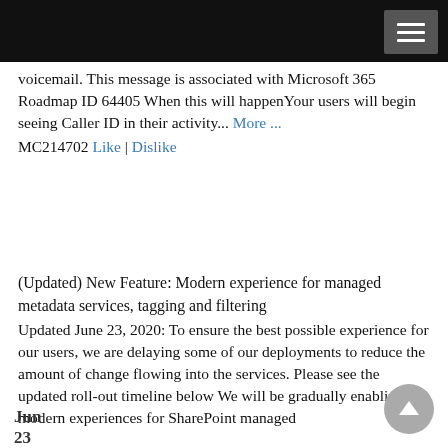[Navigation bar with hamburger menu]
voicemail. This message is associated with Microsoft 365 Roadmap ID 64405 When this will happenYour users will begin seeing Caller ID in their activity... More ... MC214702 Like | Dislike
(Updated) New Feature: Modern experience for managed metadata services, tagging and filtering
Updated June 23, 2020: To ensure the best possible experience for our users, we are delaying some of our deployments to reduce the amount of change flowing into the services. Please see the updated roll-out timeline below We will be gradually enabling modern experiences for SharePoint managed
Jun 23